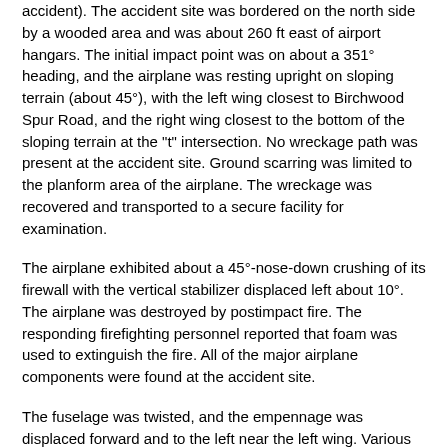accident). The accident site was bordered on the north side by a wooded area and was about 260 ft east of airport hangars. The initial impact point was on about a 351° heading, and the airplane was resting upright on sloping terrain (about 45°), with the left wing closest to Birchwood Spur Road, and the right wing closest to the bottom of the sloping terrain at the "t" intersection. No wreckage path was present at the accident site. Ground scarring was limited to the planform area of the airplane. The wreckage was recovered and transported to a secure facility for examination.
The airplane exhibited about a 45°-nose-down crushing of its firewall with the vertical stabilizer displaced left about 10°. The airplane was destroyed by postimpact fire. The responding firefighting personnel reported that foam was used to extinguish the fire. All of the major airplane components were found at the accident site.
The fuselage was twisted, and the empennage was displaced forward and to the left near the left wing. Various tube attachment points were separated due to impact forces.